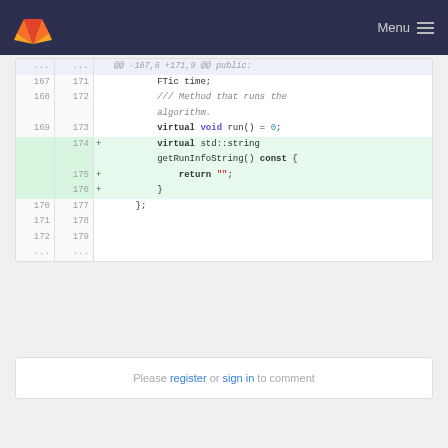Menu
[Figure (screenshot): GitLab code diff view showing lines 167-179 of a C++ file with added lines 174-176 introducing virtual std::string getRunInfoString() const { return ""; }]
Please register or sign in to comment